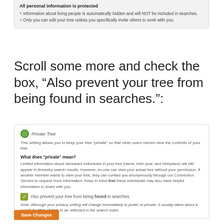All personal information is protected
Information about living people is automatically hidden and will NOT be included in searches.
Only you can edit your tree unless you specifically invite others to work with you.
Scroll some more and check the box, “Also prevent your tree from being found in searches.”:
Private Tree
This setting allows you to keep your tree “private” so that other users cannot view the contents of your tree.
What does "private" mean?
Limited information about deceased individuals in your tree (name, birth year, and birthplace) will still appear in Ancestry search results. However, no one can view your actual tree without your permission. If another member wants to view your tree, they can contact you anonymously through our Connection Service to request more information. Keep in mind that these individuals may also have helpful information to share with you.
Also prevent your tree from being found in searches.
Note: Although your privacy setting will change immediately to public or private, it usually takes about a month for this update to be reflected in the search index.
Save Changes